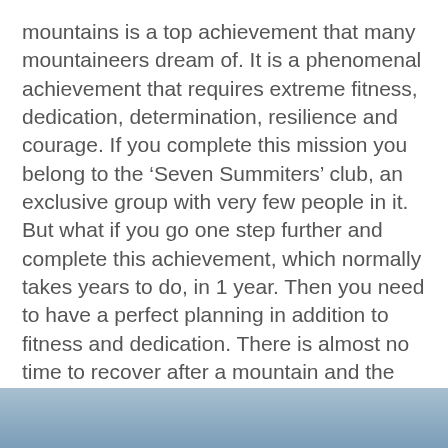mountains is a top achievement that many mountaineers dream of. It is a phenomenal achievement that requires extreme fitness, dedication, determination, resilience and courage. If you complete this mission you belong to the ‘Seven Summiters’ club, an exclusive group with very few people in it. But what if you go one step further and complete this achievement, which normally takes years to do, in 1 year. Then you need to have a perfect planning in addition to fitness and dedication. There is almost no time to recover after a mountain and the next mountain can be even heavier. The ultimate challenge for us, a hell for many!
[Figure (photo): Blue-grey sky or mountain background image cropped at the bottom of the page]